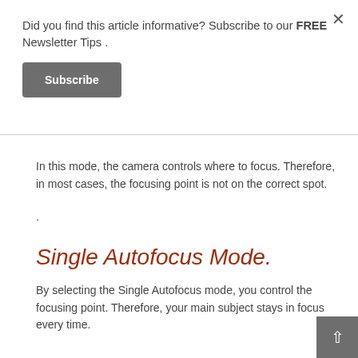Did you find this article informative? Subscribe to our FREE Newsletter Tips .
Subscribe
In this mode, the camera controls where to focus. Therefore, in most cases, the focusing point is not on the correct spot.
.
Single Autofocus Mode.
By selecting the Single Autofocus mode, you control the focusing point. Therefore, your main subject stays in focus every time.